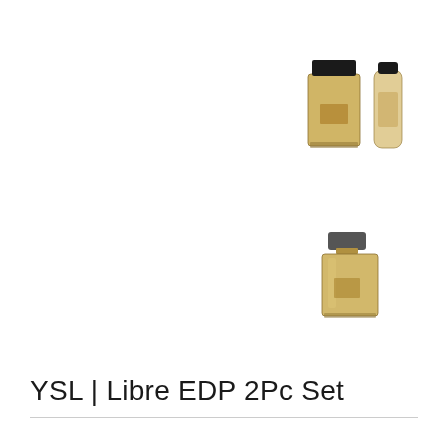[Figure (photo): YSL Libre EDP 2-piece gift set product image showing a gold perfume bottle and a cream/lotion tube, positioned top right]
[Figure (photo): YSL Libre EDP single perfume bottle product image, gold rectangular bottle with black cap, positioned middle right]
YSL | Libre EDP 2Pc Set